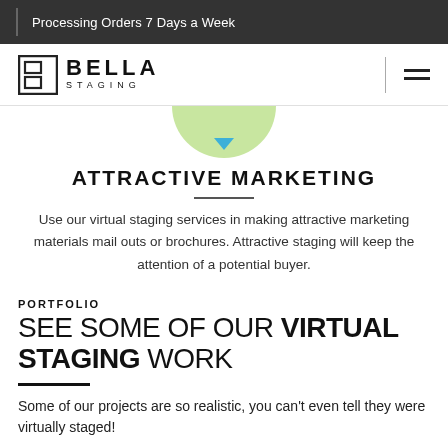Processing Orders 7 Days a Week
[Figure (logo): Bella Staging logo with stylized B icon and text BELLA STAGING]
[Figure (illustration): Partial green circle with a blue downward arrow/chevron icon at the bottom center]
ATTRACTIVE MARKETING
Use our virtual staging services in making attractive marketing materials mail outs or brochures. Attractive staging will keep the attention of a potential buyer.
PORTFOLIO
SEE SOME OF OUR VIRTUAL STAGING WORK
Some of our projects are so realistic, you can't even tell they were virtually staged!